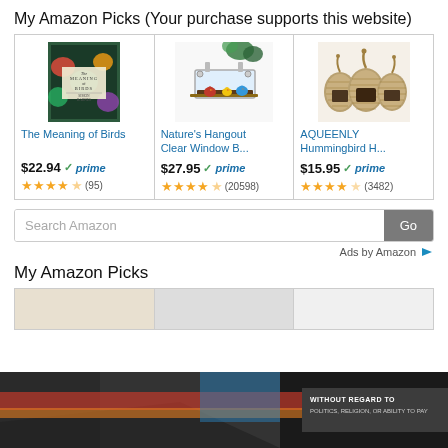My Amazon Picks (Your purchase supports this website)
[Figure (screenshot): Three Amazon product cards: 'The Meaning of Birds' book at $22.94 prime with 4.5 stars (95 reviews), 'Nature's Hangout Clear Window B...' at $27.95 prime with 4.5 stars (20598 reviews), 'AQUEENLY Hummingbird H...' at $15.95 prime with 4 stars (3482 reviews)]
Search Amazon
Go
Ads by Amazon
My Amazon Picks
[Figure (screenshot): Partial second row of Amazon product cards and an advertisement banner at the bottom showing airplanes with text 'WITHOUT REGARD TO POLITICS, RELIGION, OR ABILITY TO PAY']